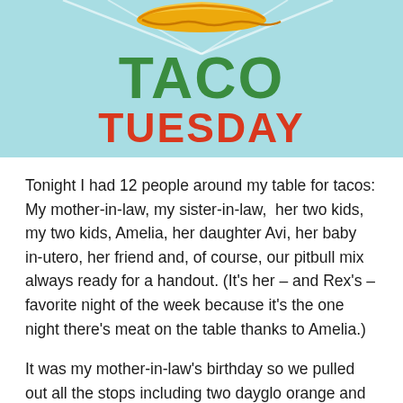[Figure (illustration): Taco Tuesday banner with light blue background, a golden taco shell illustration at the top, white radial lines, and bold text reading 'TACO' in green and 'TUESDAY' in red-orange.]
Tonight I had 12 people around my table for tacos: My mother-in-law, my sister-in-law,  her two kids, my two kids, Amelia, her daughter Avi, her baby in-utero, her friend and, of course, our pitbull mix always ready for a handout. (It's her – and Rex's – favorite night of the week because it's the one night there's meat on the table thanks to Amelia.)
It was my mother-in-law's birthday so we pulled out all the stops including two dayglo orange and green plastic taco shell holders in the form of trucks. Combined with the mariachi ducks and the sombreros we were a truly a